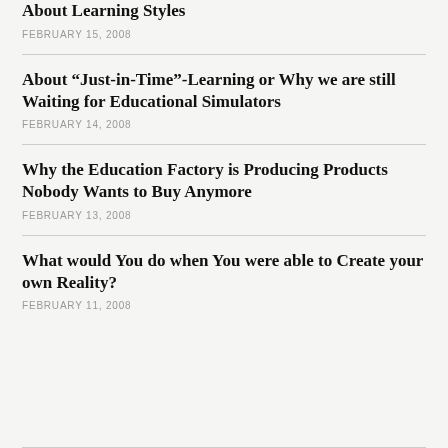About Learning Styles
FEBRUARY 15, 2008
About “Just-in-Time”-Learning or Why we are still Waiting for Educational Simulators
FEBRUARY 14, 2008
Why the Education Factory is Producing Products Nobody Wants to Buy Anymore
FEBRUARY 13, 2008
What would You do when You were able to Create your own Reality?
FEBRUARY 11, 2008